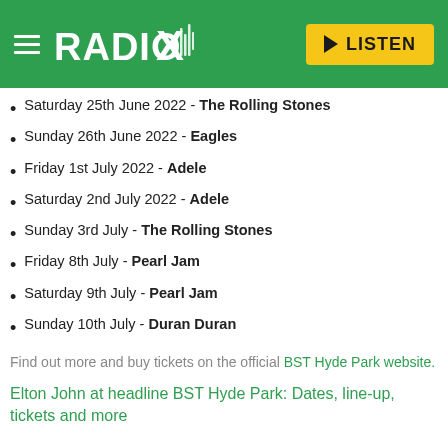RADIO X — LISTEN
Saturday 25th June 2022 - The Rolling Stones
Sunday 26th June 2022 - Eagles
Friday 1st July 2022 - Adele
Saturday 2nd July 2022 - Adele
Sunday 3rd July - The Rolling Stones
Friday 8th July - Pearl Jam
Saturday 9th July - Pearl Jam
Sunday 10th July - Duran Duran
Find out more and buy tickets on the official BST Hyde Park website.
Elton John at headline BST Hyde Park: Dates, line-up, tickets and more